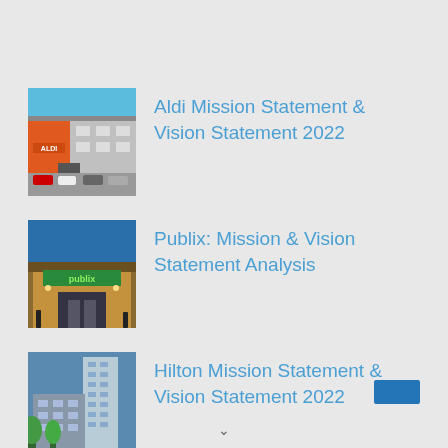Aldi Mission Statement & Vision Statement 2022
Publix: Mission & Vision Statement Analysis
Hilton Mission Statement & Vision Statement 2022